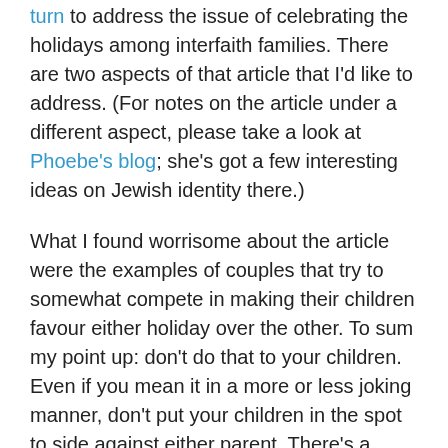turn to address the issue of celebrating the holidays among interfaith families. There are two aspects of that article that I'd like to address. (For notes on the article under a different aspect, please take a look at Phoebe's blog; she's got a few interesting ideas on Jewish identity there.)
What I found worrisome about the article were the examples of couples that try to somewhat compete in making their children favour either holiday over the other. To sum my point up: don't do that to your children. Even if you mean it in a more or less joking manner, don't put your children in the spot to side against either parent. There's a reason why in family therapy such dynamics are considered symptomatic of dysfunctional family structures. Children perceive things differently than adults and may not understand your motivations or the 'humour' therein enough to feel comfortable. If you're in an interfaith relationship with children, I suggest that either you celebrate both holidays or none; if you want to give gifts, choose a different 'independent' date (e.g. New Year's Day)